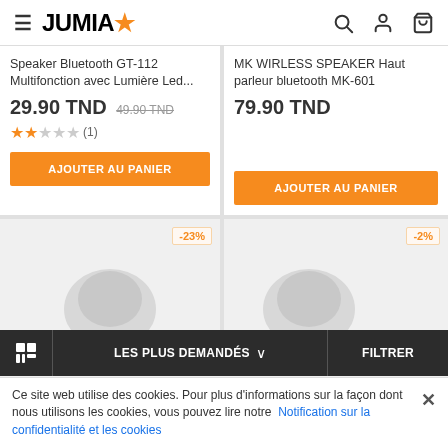JUMIA
Speaker Bluetooth GT-112 Multifonction avec Lumière Led...
29.90 TND 49.90 TND
★★☆☆☆ (1)
AJOUTER AU PANIER
MK WIRLESS SPEAKER Haut parleur bluetooth MK-601
79.90 TND
AJOUTER AU PANIER
-23%
-2%
LES PLUS DEMANDÉS ∨  FILTRER
Ce site web utilise des cookies. Pour plus d'informations sur la façon dont nous utilisons les cookies, vous pouvez lire notre Notification sur la confidentialité et les cookies